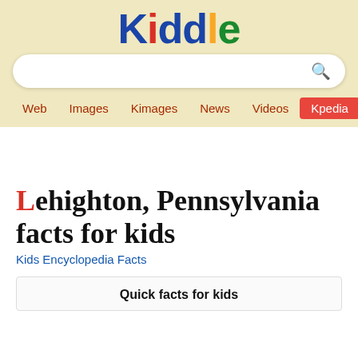[Figure (logo): Kiddle logo with colorful letters: K(blue), i(red), d(blue), d(blue), l(yellow), e(green)]
Lehighton, Pennsylvania facts for kids
Kids Encyclopedia Facts
Quick facts for kids